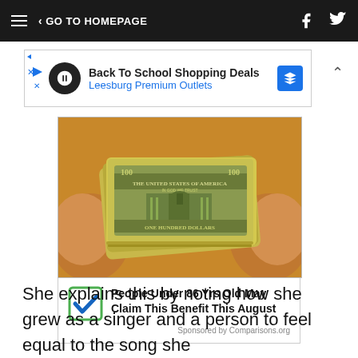GO TO HOMEPAGE
[Figure (screenshot): Advertisement banner: Back To School Shopping Deals - Leesburg Premium Outlets]
[Figure (photo): Person holding a stack of US $100 dollar bills bent in a curve]
[Figure (infographic): Sponsored ad with checkbox icon: People Under 86 Yrs Old May Claim This Benefit This August. Sponsored by Comparisons.org]
She explains this by noting how she grew as a singer and a person to feel equal to the song she